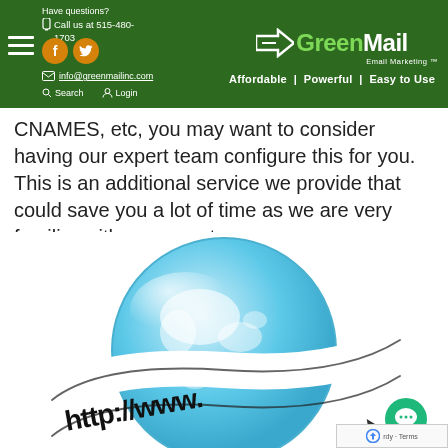Have questions? Call us at 515-480-1703 | info@greenmailinc.com | Search | Login | GreenMail Email Marketing | Affordable | Powerful | Easy to Use
CNAMES, etc, you may want to consider having our expert team configure this for you. This is an additional service we provide that could save you a lot of time as we are very familiar with proper setup.
[Figure (illustration): 3D globe/earth with a banner ribbon wrapping around it showing 'http://www.' text with a cursor arrow, white background]